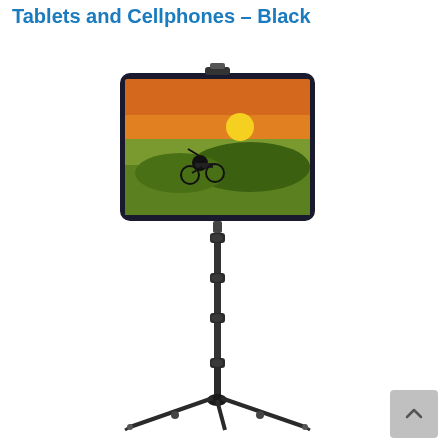Tablets and Cellphones – Black
[Figure (photo): A black tripod stand with an adjustable telescoping pole and tablet/phone holder mount at the top, holding a tablet displaying a person doing a wheelie on a bicycle against a sunset background. The tripod has three legs spread at the base.]